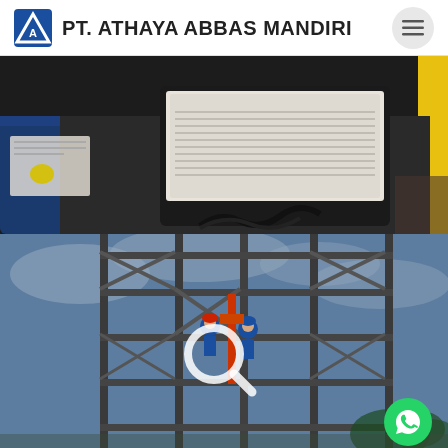PT. ATHAYA ABBAS MANDIRI
[Figure (photo): Top-down view of a laptop computer with cables and equipment on a dark work surface, with papers and a yellow object visible on the left side and a yellow pole on the right.]
[Figure (photo): Workers in blue uniforms on a tall steel scaffolding/telecommunication tower structure against a cloudy sky, with trees visible in the background. A white search/magnifying glass icon is overlaid in the center, and a WhatsApp button is in the bottom-right corner.]